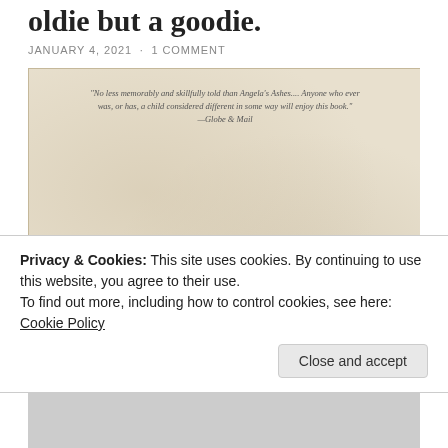oldie but a goodie.
JANUARY 4, 2021 · 1 COMMENT
[Figure (photo): Book cover of 'too close to the falls: A Memoir' on a beige/cream textured background. Quote at top reads: 'No less memorably and skillfully told than Angela's Ashes.... Anyone who ever was, or has, a child considered different in some way will enjoy this book.' —Globe & Mail]
Privacy & Cookies: This site uses cookies. By continuing to use this website, you agree to their use.
To find out more, including how to control cookies, see here:
Cookie Policy
Close and accept